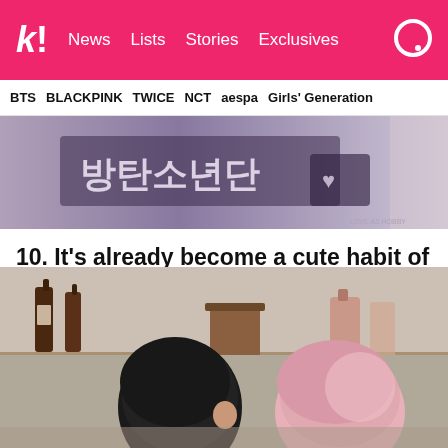k! News Lists Stories Exclusives
BTS  BLACKPINK  TWICE  NCT  aespa  Girls' Generation
[Figure (photo): Blurred image showing Korean text (방탄소년단) and decorative heart emblem on what appears to be merchandise or clothing]
10. It's already become a cute habit of his
[Figure (photo): Two people from behind, one with black hair and one with pink hair, in a room with wine bottles on shelves]